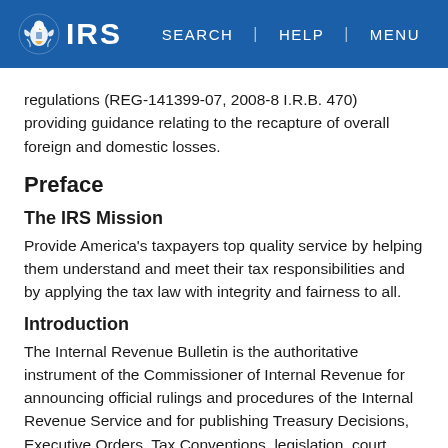IRS | SEARCH | HELP | MENU
regulations (REG-141399-07, 2008-8 I.R.B. 470) providing guidance relating to the recapture of overall foreign and domestic losses.
Preface
The IRS Mission
Provide America's taxpayers top quality service by helping them understand and meet their tax responsibilities and by applying the tax law with integrity and fairness to all.
Introduction
The Internal Revenue Bulletin is the authoritative instrument of the Commissioner of Internal Revenue for announcing official rulings and procedures of the Internal Revenue Service and for publishing Treasury Decisions, Executive Orders, Tax Conventions, legislation, court decisions, and other items of general interest. It is